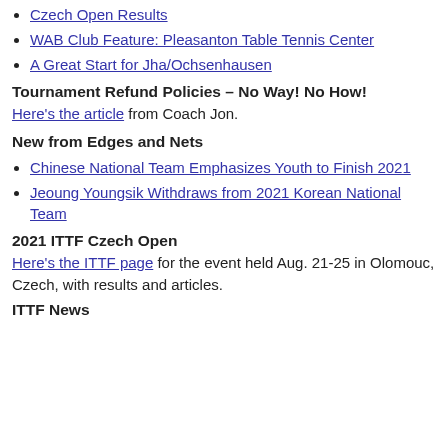Czech Open Results
WAB Club Feature: Pleasanton Table Tennis Center
A Great Start for Jha/Ochsenhausen
Tournament Refund Policies – No Way! No How!
Here's the article from Coach Jon.
New from Edges and Nets
Chinese National Team Emphasizes Youth to Finish 2021
Jeoung Youngsik Withdraws from 2021 Korean National Team
2021 ITTF Czech Open
Here's the ITTF page for the event held Aug. 21-25 in Olomouc, Czech, with results and articles.
ITTF News